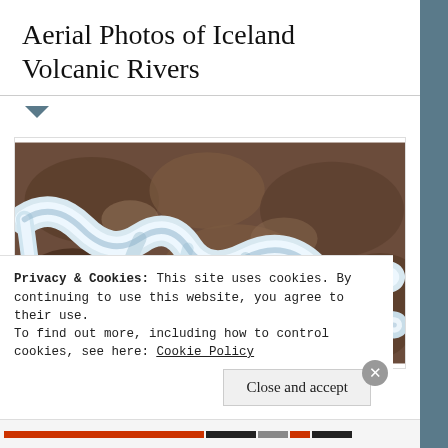Aerial Photos of Iceland Volcanic Rivers
[Figure (photo): Aerial photograph of Iceland volcanic rivers showing white milky glacial water flowing in sinuous braided channels over dark volcanic brown rocky terrain, viewed from above.]
Privacy & Cookies: This site uses cookies. By continuing to use this website, you agree to their use.
To find out more, including how to control cookies, see here: Cookie Policy
Close and accept